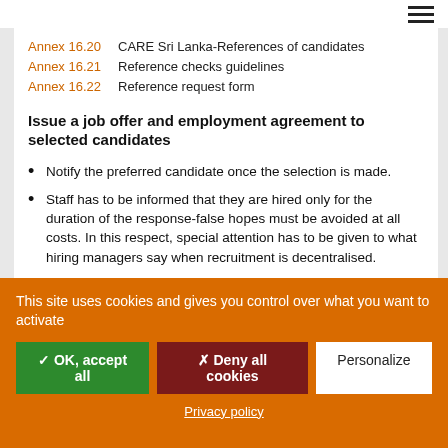Annex 16.20   CARE Sri Lanka-References of candidates
Annex 16.21   Reference checks guidelines
Annex 16.22   Reference request form
Issue a job offer and employment agreement to selected candidates
Notify the preferred candidate once the selection is made.
Staff has to be informed that they are hired only for the duration of the response-false hopes must be avoided at all costs. In this respect, special attention has to be given to what hiring managers say when recruitment is decentralised.
Ensure a probation period is included in the contract. If this is not possible, it is best to hire staff for a one-month contract first when they are recruited in an accelerated process. The
This site uses cookies and gives you control over what you want to activate
✓ OK, accept all   ✗ Deny all cookies   Personalize
Privacy policy